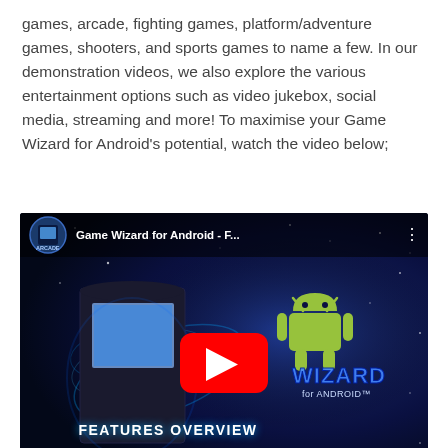games, arcade, fighting games, platform/adventure games, shooters, and sports games to name a few. In our demonstration videos, we also explore the various entertainment options such as video jukebox, social media, streaming and more! To maximise your Game Wizard for Android's potential, watch the video below;
[Figure (screenshot): Embedded YouTube video thumbnail showing 'Game Wizard for Android - F...' with an arcade cabinet on the left, Android logo on the right, a YouTube play button in the center, and text reading 'FEATURES OVERVIEW' at the bottom.]